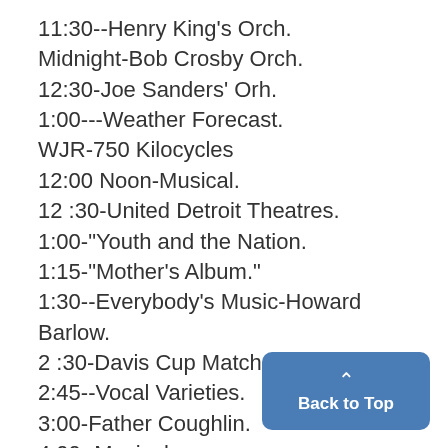11:30--Henry King's Orch.
Midnight-Bob Crosby Orch.
12:30-Joe Sanders' Orh.
1:00---Weather Forecast.
WJR-750 Kilocycles
12:00 Noon-Musical.
12 :30-United Detroit Theatres.
1:00-"Youth and the Nation.
1:15-"Mother's Album."
1:30--Everybody's Music-Howard Barlow.
2 :30-Davis Cup Matches.
2:45--Vocal Varieties.
3:00-Father Coughlin.
4:00 -Musical.